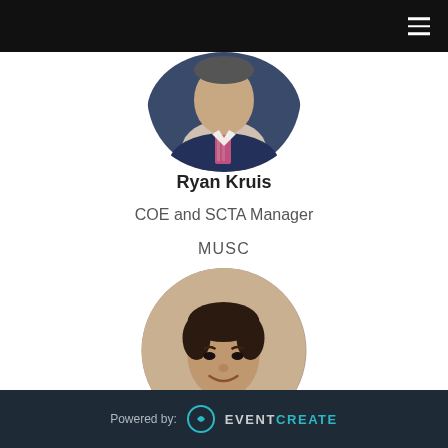[Figure (photo): Circular cropped photo of Ryan Kruis, partially visible at top of page, man in navy suit with pink/plaid tie]
Ryan Kruis
COE and SCTA Manager
MUSC
[Figure (photo): Circular cropped headshot of a man with dark hair wearing a dark suit and blue tie, smiling]
Powered by: EVENTCREATE